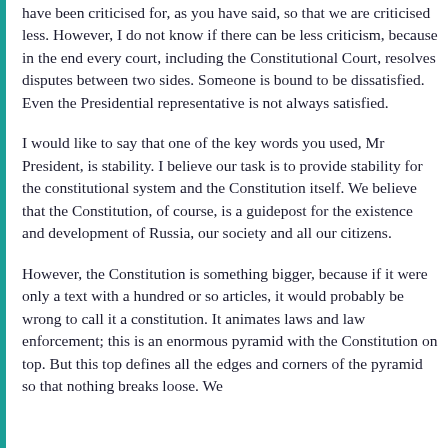have been criticised for, as you have said, so that we are criticised less. However, I do not know if there can be less criticism, because in the end every court, including the Constitutional Court, resolves disputes between two sides. Someone is bound to be dissatisfied. Even the Presidential representative is not always satisfied.
I would like to say that one of the key words you used, Mr President, is stability. I believe our task is to provide stability for the constitutional system and the Constitution itself. We believe that the Constitution, of course, is a guidepost for the existence and development of Russia, our society and all our citizens.
However, the Constitution is something bigger, because if it were only a text with a hundred or so articles, it would probably be wrong to call it a constitution. It animates laws and law enforcement; this is an enormous pyramid with the Constitution on top. But this top defines all the edges and corners of the pyramid so that nothing breaks loose. We